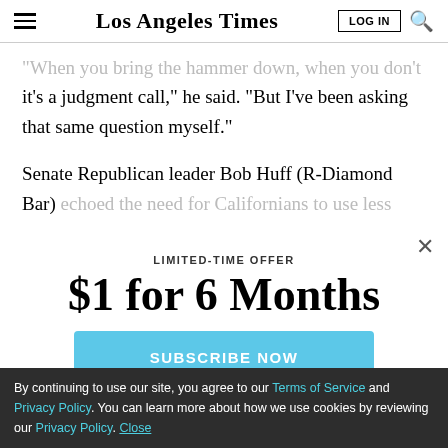Los Angeles Times
it's a judgment call," he said. "But I've been asking that same question myself."
Senate Republican leader Bob Huff (R-Diamond Bar) echoed the need for Californians to use less water
LIMITED-TIME OFFER
$1 for 6 Months
SUBSCRIBE NOW
By continuing to use our site, you agree to our Terms of Service and Privacy Policy. You can learn more about how we use cookies by reviewing our Privacy Policy. Close